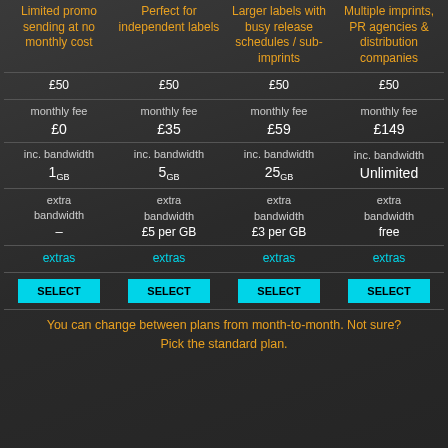| Plan 1 | Plan 2 | Plan 3 | Plan 4 |
| --- | --- | --- | --- |
| Limited promo sending at no monthly cost | Perfect for independent labels | Larger labels with busy release schedules / sub-imprints | Multiple imprints, PR agencies & distribution companies |
| £50 | £50 | £50 | £50 |
| monthly fee £0 | monthly fee £35 | monthly fee £59 | monthly fee £149 |
| inc. bandwidth 1GB | inc. bandwidth 5GB | inc. bandwidth 25GB | inc. bandwidth Unlimited |
| extra bandwidth – | extra bandwidth £5 per GB | extra bandwidth £3 per GB | extra bandwidth free |
| extras | extras | extras | extras |
| SELECT | SELECT | SELECT | SELECT |
You can change between plans from month-to-month. Not sure? Pick the standard plan.